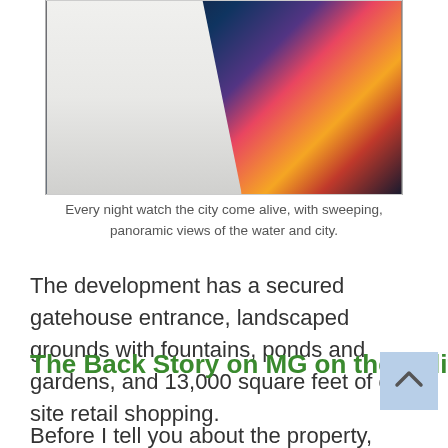[Figure (photo): A person in a white shirt viewed from behind, standing at a waterfront at night with city lights and reflections on the water in the background]
Every night watch the city come alive, with sweeping, panoramic views of the water and city.
The development has a secured gatehouse entrance, landscaped grounds with fountains, ponds and gardens, and 13,000 square feet of on-site retail shopping.
The Back Story on MG on the Halifax
Before I tell you about the property,